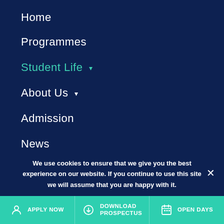Home
Programmes
Student Life ▾
About Us ▾
Admission
News
Get In Touch
Copyright 2021 King Stage. All rights reserved. Website design by Freshwave Media Digital Marketing Agency
We use cookies to ensure that we give you the best experience on our website. If you continue to use this site we will assume that you are happy with it.
APPLY NOW   DOWNLOAD PROSPECTUS   OPEN DAYS